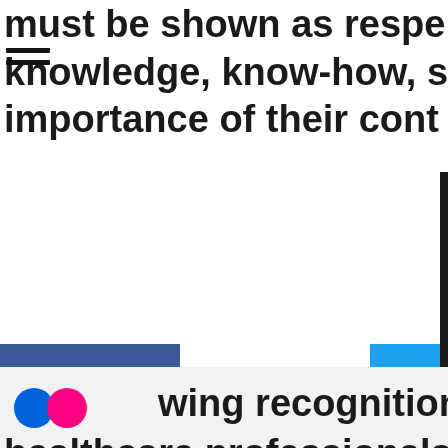must be shown as respe...
knowledge, know-how, s...
importance of their cont...
[Figure (infographic): Social media icons row: Facebook (blue), white center block with partial text 'uption / erition', Twitter bird (cyan), YouTube play button (red), with partial dark block on right edge]
[Figure (logo): Flickr logo: blue and pink circles]
wing recognition also...
healthcare professionals...
[Figure (infographic): Dark footer bar with: add-person icon (white), 'Newsletter' text (white, large), globe/web icon (white)]
...eans giving them...express their views, to d...